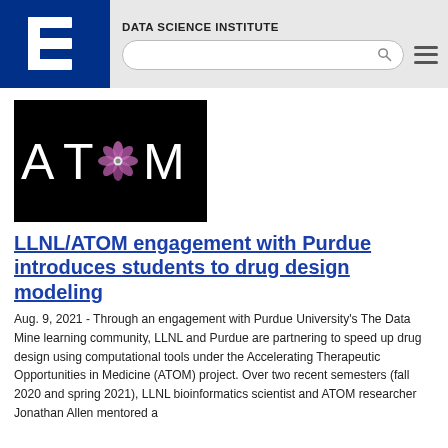DATA SCIENCE INSTITUTE
[Figure (logo): ATOM project logo: white text 'ATOM' with a stylized pink/purple atomic/flower symbol replacing the letter O, on a black background]
LLNL/ATOM engagement with Purdue introduces students to drug design modeling
Aug. 9, 2021 - Through an engagement with Purdue University's The Data Mine learning community, LLNL and Purdue are partnering to speed up drug design using computational tools under the Accelerating Therapeutic Opportunities in Medicine (ATOM) project. Over two recent semesters (fall 2020 and spring 2021), LLNL bioinformatics scientist and ATOM researcher Jonathan Allen mentored a